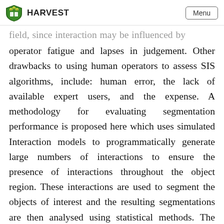HARVEST  Menu
field, since interaction may be influenced by operator fatigue and lapses in judgement. Other drawbacks to using human operators to assess SIS algorithms, include: human error, the lack of available expert users, and the expense. A methodology for evaluating segmentation performance is proposed here which uses simulated Interaction models to programmatically generate large numbers of interactions to ensure the presence of interactions throughout the object region. These interactions are used to segment the objects of interest and the resulting segmentations are then analysed using statistical methods. The large number of interactions generated by simulated interaction models capture the variabilities existing in the set of user interactions by considering each and every pixel